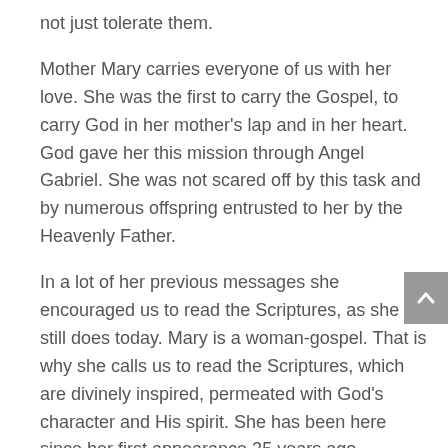not just tolerate them.
Mother Mary carries everyone of us with her love. She was the first to carry the Gospel, to carry God in her mother's lap and in her heart. God gave her this mission through Angel Gabriel. She was not scared off by this task and by numerous offspring entrusted to her by the Heavenly Father.
In a lot of her previous messages she encouraged us to read the Scriptures, as she still does today. Mary is a woman-gospel. That is why she calls us to read the Scriptures, which are divinely inspired, permeated with God's character and His spirit. She has been here since her first appearance 25 years ago. However, she has not come to unveil new truths or to add something new to the Gospels. She has